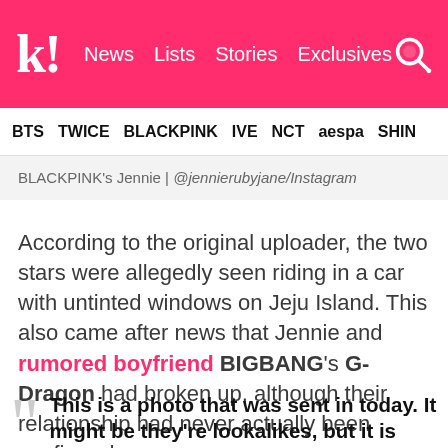k! News   Lists   Stories   Exclusives
BTS   TWICE   BLACKPINK   IVE   NCT   aespa   SHINe
BLACKPINK's Jennie | @jennierubyjane/Instagram
According to the original uploader, the two stars were allegedly seen riding in a car with untinted windows on Jeju Island. This also came after news that Jennie and rumored boyfriend BIGBANG's G-Dragon had broken up, although their relationship had never actually been confirmed.
This is a photo that was sent in today. It might be they're lookalikes, but it is allegedly a photo of two top idols. The